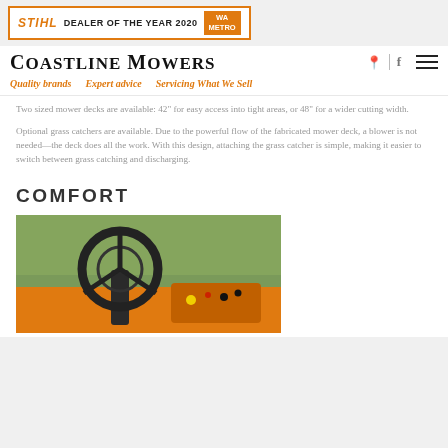[Figure (logo): STIHL Dealer of the Year 2020 WA Metro badge/banner]
Coastline Mowers
Quality brands   Expert advice   Servicing What We Sell
Two sized mower decks are available: 42" for easy access into tight areas, or 48" for a wider cutting width.
Optional grass catchers are available. Due to the powerful flow of the fabricated mower deck, a blower is not needed—the deck does all the work. With this design, attaching the grass catcher is simple, making it easier to switch between grass catching and discharging.
COMFORT
[Figure (photo): Close-up photo of a riding lawn mower steering wheel and orange body/dashboard with controls]